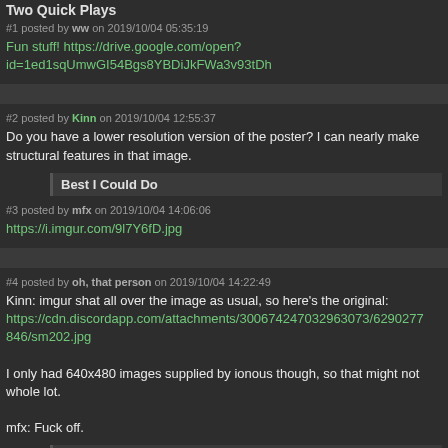Two Quick Plays
#1 posted by ww on 2019/10/04 05:35:19
Fun stuff! https://drive.google.com/open?id=1ed1sqUmwGI54Bgs8YBDiJkFWa3v93tDh
#2 posted by Kinn on 2019/10/04 12:55:37
Do you have a lower resolution version of the poster? I can nearly make structural features in that image.
Best I Could Do
#3 posted by mfx on 2019/10/04 14:06:06
https://i.imgur.com/9l7Y6fD.jpg
#4 posted by oh, that person on 2019/10/04 14:22:49
Kinn: imgur shat all over the image as usual, so here's the original: https://cdn.discordapp.com/attachments/300674247032963073/629027 846/sm202.jpg
I only had 640x480 images supplied by ionous though, so that might not whole lot.
mfx: Fuck off.
Mfx
#5 posted by Shambler on 2019/10/04 14:47:57
So that's what it looks like with linear filtering off! No wonder killeS likes it